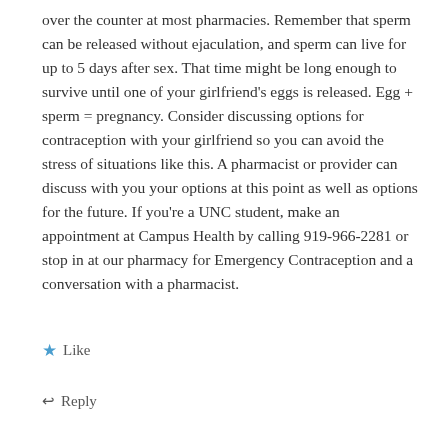over the counter at most pharmacies. Remember that sperm can be released without ejaculation, and sperm can live for up to 5 days after sex. That time might be long enough to survive until one of your girlfriend's eggs is released. Egg + sperm = pregnancy. Consider discussing options for contraception with your girlfriend so you can avoid the stress of situations like this. A pharmacist or provider can discuss with you your options at this point as well as options for the future. If you're a UNC student, make an appointment at Campus Health by calling 919-966-2281 or stop in at our pharmacy for Emergency Contraception and a conversation with a pharmacist.
★ Like
↩ Reply